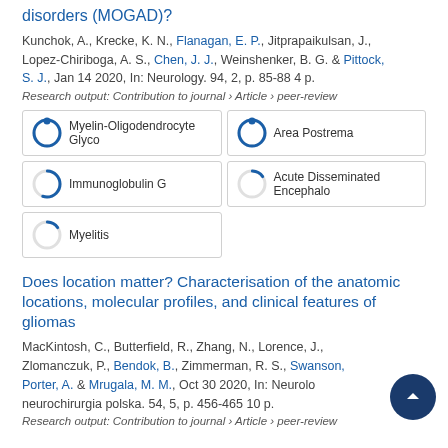disorders (MOGAD)?
Kunchok, A., Krecke, K. N., Flanagan, E. P., Jitprapaikulsan, J., Lopez-Chiriboga, A. S., Chen, J. J., Weinshenker, B. G. & Pittock, S. J., Jan 14 2020, In: Neurology. 94, 2, p. 85-88 4 p.
Research output: Contribution to journal › Article › peer-review
[Figure (infographic): Five fingerprint/badge items: Myelin-Oligodendrocyte Glyco (100%), Area Postrema (100%), Immunoglobulin G (~55%), Acute Disseminated Encephalo (~15%), Myelitis (~15%)]
Does location matter? Characterisation of the anatomic locations, molecular profiles, and clinical features of gliomas
MacKintosh, C., Butterfield, R., Zhang, N., Lorence, J., Zlomanczuk, P., Bendok, B., Zimmerman, R. S., Swanson, Porter, A. & Mrugala, M. M., Oct 30 2020, In: Neurologia i neurochirurgia polska. 54, 5, p. 456-465 10 p.
Research output: Contribution to journal › Article › peer-review